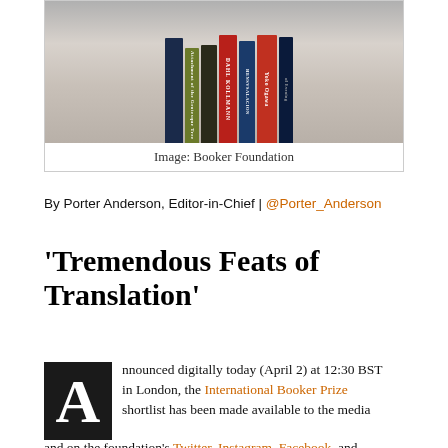[Figure (photo): Photo of several book spines standing upright on a wooden surface, including books by Dahl Kollmann, Yoko Ogawa, and others.]
Image: Booker Foundation
By Porter Anderson, Editor-in-Chief | @Porter_Anderson
‘Tremendous Feats of Translation’
Announced digitally today (April 2) at 12:30 BST in London, the International Booker Prize shortlist has been made available to the media and on the foundation’s Twitter, Instagram, Facebook, and